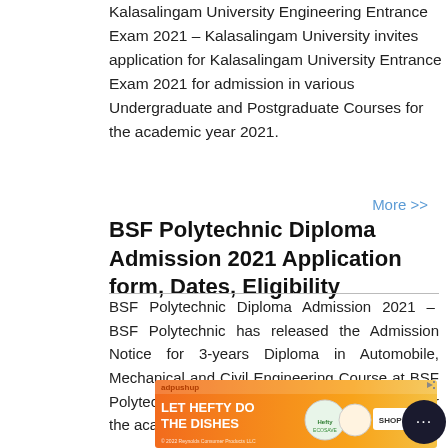Kalasalingam University Engineering Entrance Exam 2021 – Kalasalingam University invites application for Kalasalingam University Entrance Exam 2021 for admission in various Undergraduate and Postgraduate Courses for the academic year 2021.
More >>
BSF Polytechnic Diploma Admission 2021 Application form, Dates, Eligibility
BSF Polytechnic Diploma Admission 2021 – BSF Polytechnic has released the Admission Notice for 3-years Diploma in Automobile, Mechanical and Civil Engineering Course at BSF Polytechnic CSMT, BSF Academy, Tekanpur for the academic Session 2021-22.
[Figure (other): Advertisement banner: adpushup | LET HEFTY DO THE DISHES — orange background with Hefty dish soap product images and a SHOP NOW button]